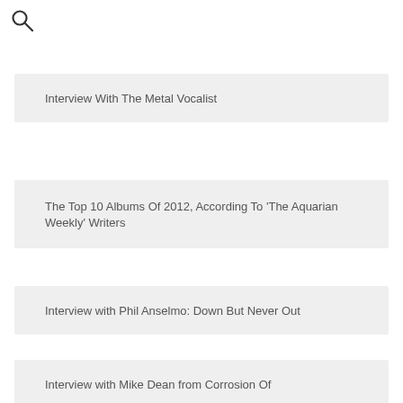[Figure (other): Search icon (magnifying glass)]
Interview With The Metal Vocalist
The Top 10 Albums Of 2012, According To 'The Aquarian Weekly' Writers
Interview with Phil Anselmo: Down But Never Out
Interview with Rex Brown from Kill Devil Hill: Playing Cowboys And Indians
Interview with Mike Dean from Corrosion Of